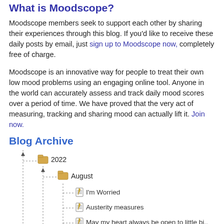What is Moodscope?
Moodscope members seek to support each other by sharing their experiences through this blog. If you'd like to receive these daily posts by email, just sign up to Moodscope now, completely free of charge.
Moodscope is an innovative way for people to treat their own low mood problems using an engaging online tool. Anyone in the world can accurately assess and track daily mood scores over a period of time. We have proved that the very act of measuring, tracking and sharing mood can actually lift it. Join now.
Blog Archive
[Figure (other): Tree/folder widget showing blog archive structure: 2022 > August > list of blog posts: I'm Worried, Austerity measures, May my heart always be open to little bi..., Good morning?, Maybe it's in my makeup (2)]